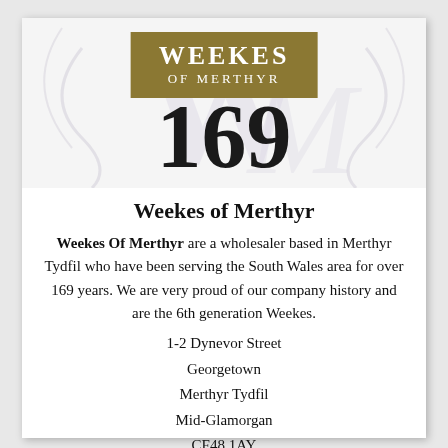[Figure (logo): Weekes of Merthyr logo banner with gold box showing 'WEEKES OF MERTHYR' text, large '169' number below, and decorative monogram watermark in background]
Weekes of Merthyr
Weekes Of Merthyr are a wholesaler based in Merthyr Tydfil who have been serving the South Wales area for over 169 years. We are very proud of our company history and are the 6th generation Weekes.
1-2 Dynevor Street
Georgetown
Merthyr Tydfil
Mid-Glamorgan
CF48 1AY